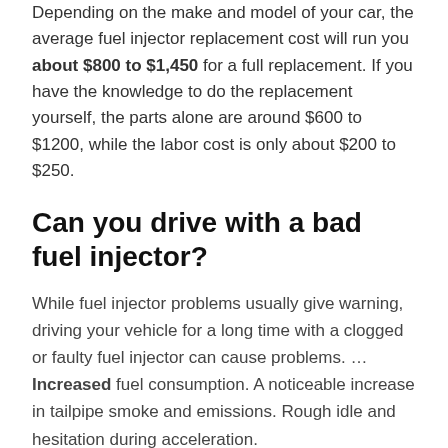Depending on the make and model of your car, the average fuel injector replacement cost will run you about $800 to $1,450 for a full replacement. If you have the knowledge to do the replacement yourself, the parts alone are around $600 to $1200, while the labor cost is only about $200 to $250.
Can you drive with a bad fuel injector?
While fuel injector problems usually give warning, driving your vehicle for a long time with a clogged or faulty fuel injector can cause problems. … Increased fuel consumption. A noticeable increase in tailpipe smoke and emissions. Rough idle and hesitation during acceleration.
How many years do fuel injectors last?